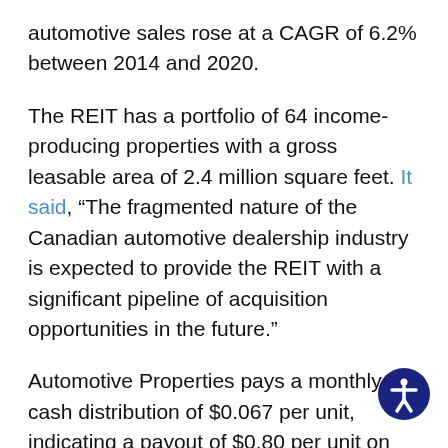automotive sales rose at a CAGR of 6.2% between 2014 and 2020.
The REIT has a portfolio of 64 income-producing properties with a gross leasable area of 2.4 million square feet. It said, “The fragmented nature of the Canadian automotive dealership industry is expected to provide the REIT with a significant pipeline of acquisition opportunities in the future.”
Automotive Properties pays a monthly cash distribution of $0.067 per unit, indicating a payout of $0.80 per unit on an annualized basis. The stock has a forward yield of 7.4%, and with a payout ratio of 72%, its dividend payments remain